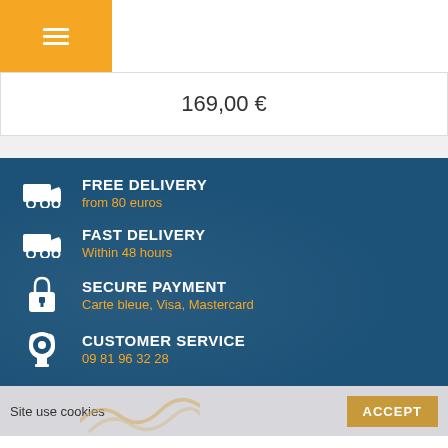Navigation bar with menu, search, account, and cart icons
169,00 €
FREE DELIVERY
from 80 euros
FAST DELIVERY
Within 48 hours
SECURE PAYMENT
Carte bleue, Visa, Mastercard
CUSTOMER SERVICE
09 81 96 32 28
Site use cookies
ACCEPT